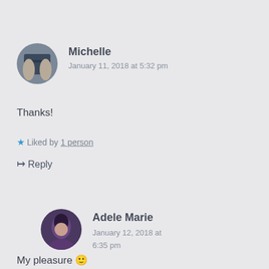[Figure (photo): Circular avatar photo of Michelle holding a book in front of her face]
Michelle
January 11, 2018 at 5:32 pm
Thanks!
★ Liked by 1 person
↳ Reply
[Figure (photo): Circular avatar photo of Adele Marie, a woman with dark hair]
Adele Marie
January 12, 2018 at 6:35 pm
My pleasure 🙂